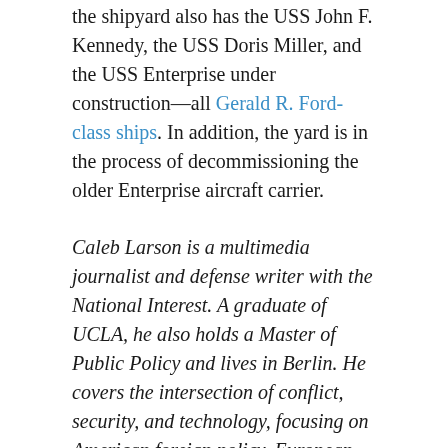the shipyard also has the USS John F. Kennedy, the USS Doris Miller, and the USS Enterprise under construction—all Gerald R. Ford-class ships. In addition, the yard is in the process of decommissioning the older Enterprise aircraft carrier.
Caleb Larson is a multimedia journalist and defense writer with the National Interest. A graduate of UCLA, he also holds a Master of Public Policy and lives in Berlin. He covers the intersection of conflict, security, and technology, focusing on American foreign policy, European security, and German society for both print and radio. Follow him on Twitter @calebmlarson